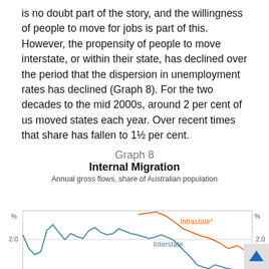is no doubt part of the story, and the willingness of people to move for jobs is part of this. However, the propensity of people to move interstate, or within their state, has declined over the period that the dispersion in unemployment rates has declined (Graph 8). For the two decades to the mid 2000s, around 2 per cent of us moved states each year. Over recent times that share has fallen to 1½ per cent.
Graph 8
[Figure (line-chart): Two line chart showing internal migration as annual gross flows share of Australian population. The Intrastate line (orange) runs above, declining from around 3.5% to around 2.0% toward the end. The Interstate line (teal) oscillates around 2.0% with peaks and troughs, declining sharply in recent years.]